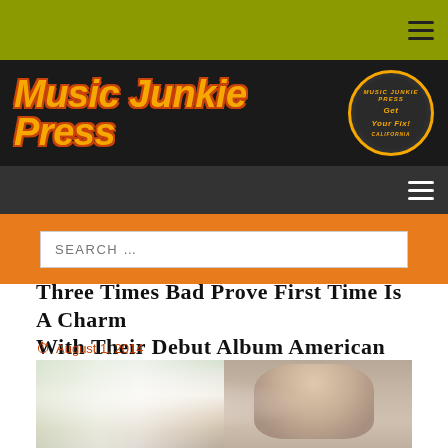Music Junkie Press
Three Times Bad prove first time is a charm with their debut album American Sojourn
August 1, 2014
[Figure (photo): Photo of musicians, appears to show two people, one on left partially visible, one on right a man facing camera, with curtains/windows in background]